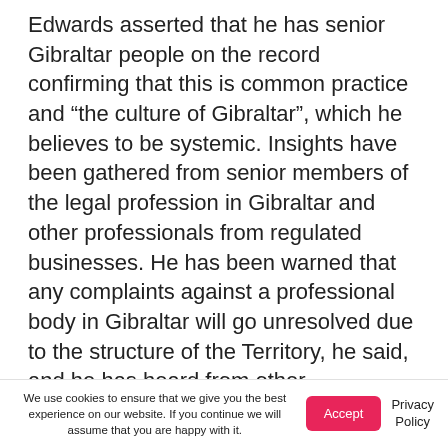Edwards asserted that he has senior Gibraltar people on the record confirming that this is common practice and “the culture of Gibraltar”, which he believes to be systemic. Insights have been gathered from senior members of the legal profession in Gibraltar and other professionals from regulated businesses. He has been warned that any complaints against a professional body in Gibraltar will go unresolved due to the structure of the Territory, he said, and he has heard from other
We use cookies to ensure that we give you the best experience on our website. If you continue we will assume that you are happy with it.
Accept
Privacy Policy